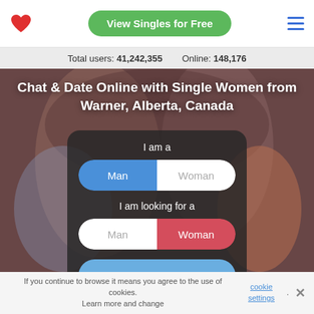[Figure (screenshot): Navigation bar with red heart logo, green 'View Singles for Free' button, and blue hamburger menu icon]
Total users: 41,242,355    Online: 148,176
Chat & Date Online with Single Women from Warner, Alberta, Canada
[Figure (screenshot): Sign-up card with 'I am a' toggle (Man selected in blue, Woman in white), 'I am looking for a' toggle (Man in white, Woman selected in red), and 'SIGN ME UP!' button in blue]
If you continue to browse it means you agree to the use of cookies. Learn more and change cookie settings.